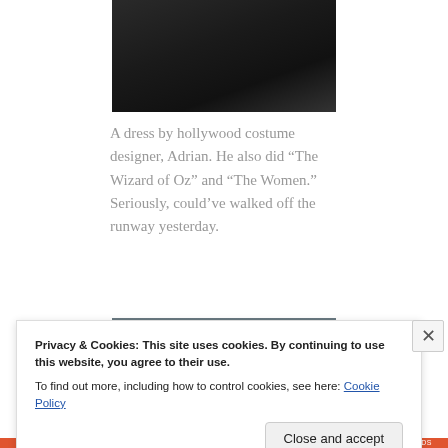[Figure (photo): Photo of a dark/black dress hanging against a light background, cropped showing lower portion of garment]
A dress by hollywood costume designer, Adrian. He also did “The Wizard of Oz” and “The Women.” Seriously, could’ve walked off the runway yesterday.
[Figure (photo): Photo of a room interior with dark tones, partially visible]
Privacy & Cookies: This site uses cookies. By continuing to use this website, you agree to their use.
To find out more, including how to control cookies, see here: Cookie Policy
Close and accept